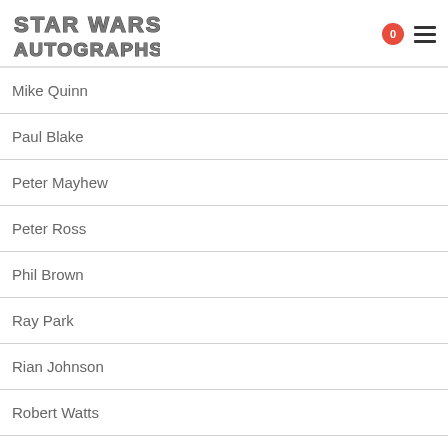STAR WARS AUTOGRAPHS
Mike Quinn
Paul Blake
Peter Mayhew
Peter Ross
Phil Brown
Ray Park
Rian Johnson
Robert Watts
Samuel L. Jackson